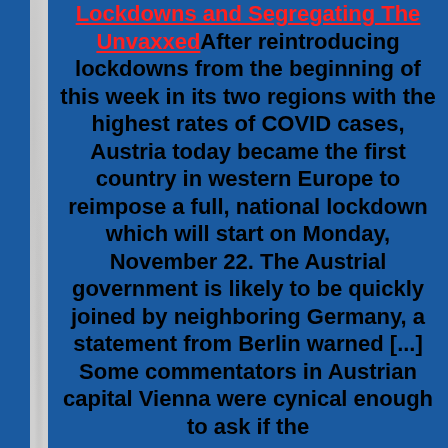Lockdowns and Segregating The Unvaxxed After reintroducing lockdowns from the beginning of this week in its two regions with the highest rates of COVID cases, Austria today became the first country in western Europe to reimpose a full, national lockdown which will start on Monday, November 22. The Austrial government is likely to be quickly joined by neighboring Germany, a statement from Berlin warned [...] Some commentators in Austrian capital Vienna were cynical enough to ask if the